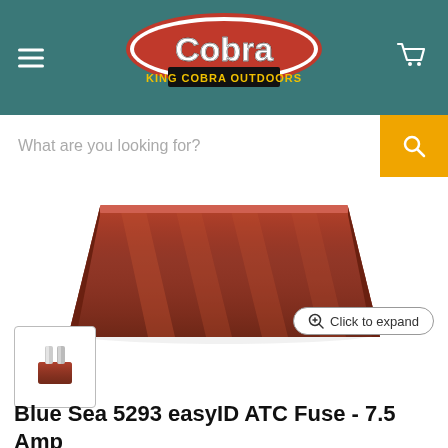Cobra King Cobra Outdoors
[Figure (screenshot): King Cobra Outdoors website header with teal background, hamburger menu icon on left, Cobra logo in center, shopping cart icon on right]
[Figure (screenshot): Search bar with placeholder text 'What are you looking for?' and orange search button with magnifying glass icon]
[Figure (photo): Close-up photo of a brown/maroon Blue Sea easyID ATC automotive blade fuse viewed from above at an angle, showing the clear plastic top with two prongs]
[Figure (photo): Small thumbnail image of the Blue Sea 5293 easyID ATC Fuse showing a brown blade fuse with clear prongs on white background]
Blue Sea 5293 easyID ATC Fuse - 7.5 Amp